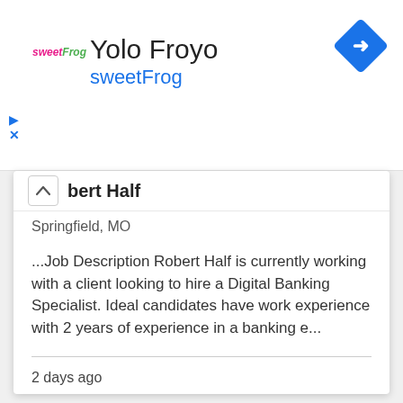[Figure (logo): sweetFrog logo with play and close/X controls on the left side of advertisement banner]
Yolo Froyo
sweetFrog
[Figure (infographic): Blue diamond shaped navigation/turn icon with white right-arrow]
bert Half
Springfield, MO
...Job Description Robert Half is currently working with a client looking to hire a Digital Banking Specialist. Ideal candidates have work experience with 2 years of experience in a banking e...
2 days ago